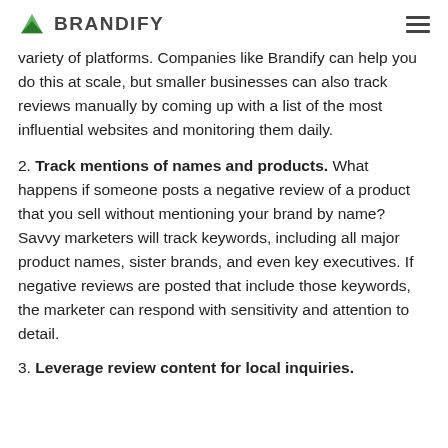BRANDIFY
variety of platforms. Companies like Brandify can help you do this at scale, but smaller businesses can also track reviews manually by coming up with a list of the most influential websites and monitoring them daily.
2. Track mentions of names and products. What happens if someone posts a negative review of a product that you sell without mentioning your brand by name? Savvy marketers will track keywords, including all major product names, sister brands, and even key executives. If negative reviews are posted that include those keywords, the marketer can respond with sensitivity and attention to detail.
3. Leverage review content for local inquiries.